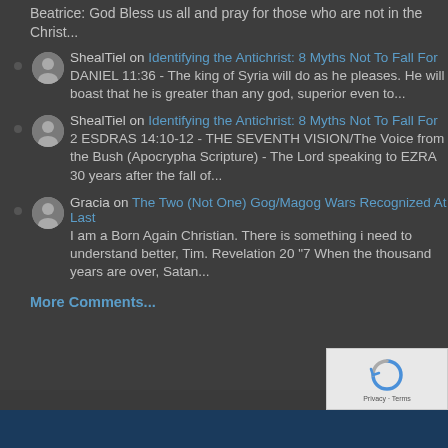Beatrice: God Bless us all and pray for those who are not in the Christ...
ShealTiel on Identifying the Antichrist: 8 Myths Not To Fall For
DANIEL 11:36 - The king of Syria will do as he pleases. He will boast that he is greater than any god, superior even to...
ShealTiel on Identifying the Antichrist: 8 Myths Not To Fall For
2 ESDRAS 14:10-12 - THE SEVENTH VISION/The Voice from the Bush (Apocrypha Scripture) - The Lord speaking to EZRA 30 years after the fall of...
Gracia on The Two (Not One) Gog/Magog Wars Recognized At Last
I am a Born Again Christian. There is something i need to understand better, Tim. Revelation 20 "7 When the thousand years are over, Satan...
More Comments...